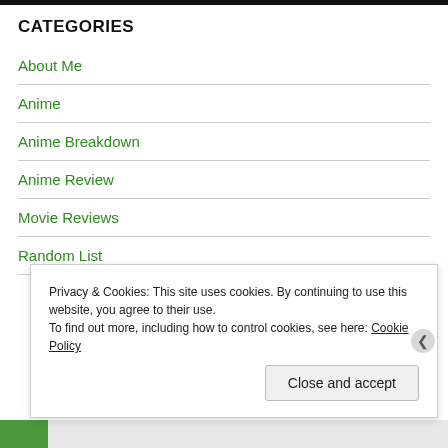CATEGORIES
About Me
Anime
Anime Breakdown
Anime Review
Movie Reviews
Random List
Privacy & Cookies: This site uses cookies. By continuing to use this website, you agree to their use.
To find out more, including how to control cookies, see here: Cookie Policy